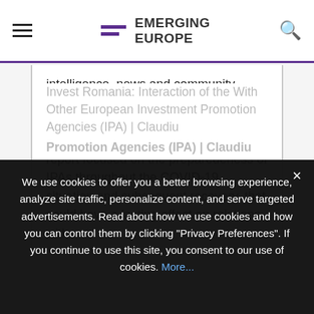EMERGING EUROPE
intelligence, news and community platform produced a major news report focusing on investment promotion agencies across the region. This year's report focused on the preparedeness of IPAs throughout the COVID-19 situation and subsequent recovery, that could have a lasting effect on relations with...
We use cookies to offer you a better browsing experience, analyze site traffic, personalize content, and serve targeted advertisements. Read about how we use cookies and how you can control them by clicking "Privacy Preferences". If you continue to use this site, you consent to our use of cookies. More...
Invest Romania: Interaction of the With Other European Investment Promotion Agencies (IPA) | Claudiu